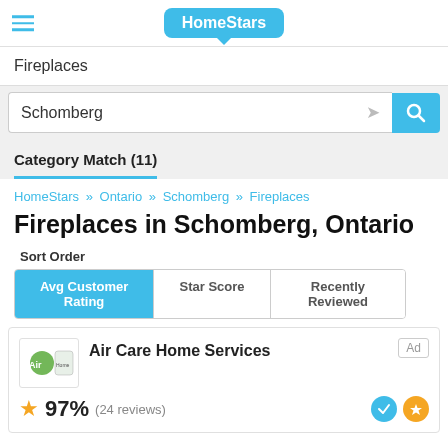[Figure (logo): HomeStars logo in blue speech bubble]
Fireplaces
Schomberg
Category Match (11)
HomeStars » Ontario » Schomberg » Fireplaces
Fireplaces in Schomberg, Ontario
Sort Order
Avg Customer Rating | Star Score | Recently Reviewed
Air Care Home Services
97%  (24 reviews)